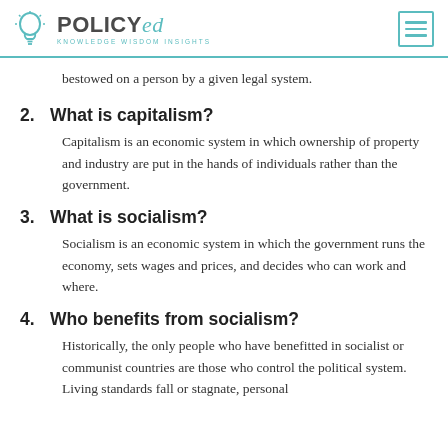POLICYed — KNOWLEDGE WISDOM INSIGHTS
bestowed on a person by a given legal system.
2. What is capitalism?
Capitalism is an economic system in which ownership of property and industry are put in the hands of individuals rather than the government.
3. What is socialism?
Socialism is an economic system in which the government runs the economy, sets wages and prices, and decides who can work and where.
4. Who benefits from socialism?
Historically, the only people who have benefitted in socialist or communist countries are those who control the political system. Living standards fall or stagnate, personal liberties are curtailed, and economic opportunities shrink.